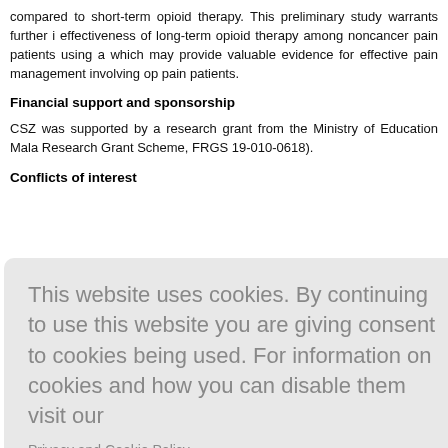compared to short-term opioid therapy. This preliminary study warrants further investigation into the effectiveness of long-term opioid therapy among noncancer pain patients using a more robust study design, which may provide valuable evidence for effective pain management involving opioids among noncancer pain patients.
Financial support and sponsorship
CSZ was supported by a research grant from the Ministry of Education Malaysia (Fundamental Research Grant Scheme, FRGS 19-010-0618).
Conflicts of interest
[Figure (other): Cookie consent overlay popup with text: 'This website uses cookies. By continuing to use this website you are giving consent to cookies being used. For information on cookies and how you can disable them visit our Privacy and Cookie Policy.' and a red 'AGREE & PROCEED' button.]
l trends in l Heal 2016;1
of strong o